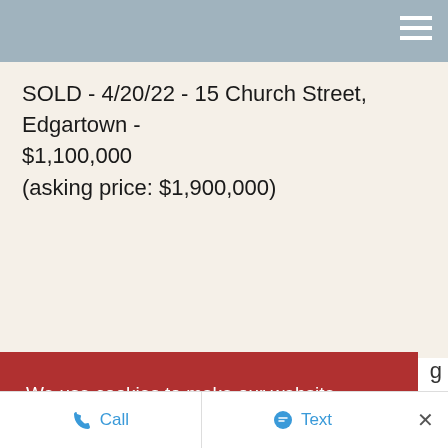SOLD - 4/20/22 -  15 Church Street, Edgartown - $1,100,000
(asking price: $1,900,000)
We use cookies to make our website experience better.
To learn about how we keep your information safe, view our Privacy Policy
I agree
Call  Text